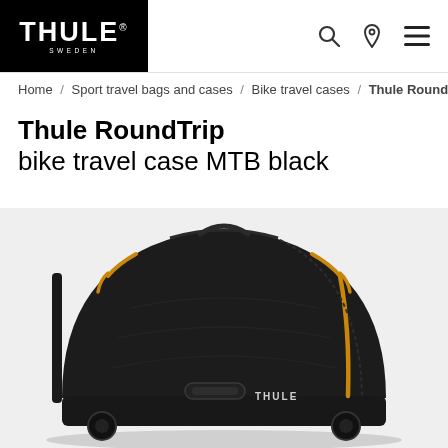THULE SWEDEN
Home / Sport travel bags and cases / Bike travel cases / Thule RoundTrip
Thule RoundTrip bike travel case MTB black
[Figure (photo): Black Thule RoundTrip bike travel case MTB with gold/orange accent stripes and Thule logo on front, shown on wheels against light gray background]